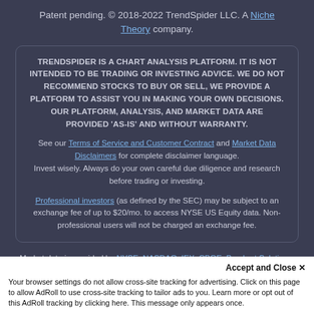Patent pending. © 2018-2022 TrendSpider LLC. A Niche Theory company.
TRENDSPIDER IS A CHART ANALYSIS PLATFORM. IT IS NOT INTENDED TO BE TRADING OR INVESTING ADVICE. WE DO NOT RECOMMEND STOCKS TO BUY OR SELL, WE PROVIDE A PLATFORM TO ASSIST YOU IN MAKING YOUR OWN DECISIONS. OUR PLATFORM, ANALYSIS, AND MARKET DATA ARE PROVIDED 'AS-IS' AND WITHOUT WARRANTY.

See our Terms of Service and Customer Contract and Market Data Disclaimers for complete disclaimer language.
Invest wisely. Always do your own careful due diligence and research before trading or investing.

Professional investors (as defined by the SEC) may be subject to an exchange fee of up to $20/mo. to access NYSE US Equity data. Non-professional users will not be charged an exchange fee.
Market data is provided by NYSE, NASDAQ, IEX, CBOE, Barchart Solutions, Polygon, Benzinga, Intrinio, Oliver Quant and others.
TrendSpider was designed and tested for Google Chrome users.
Accept and Close ✕
Your browser settings do not allow cross-site tracking for advertising. Click on this page to allow AdRoll to use cross-site tracking to tailor ads to you. Learn more or opt out of this AdRoll tracking by clicking here. This message only appears once.